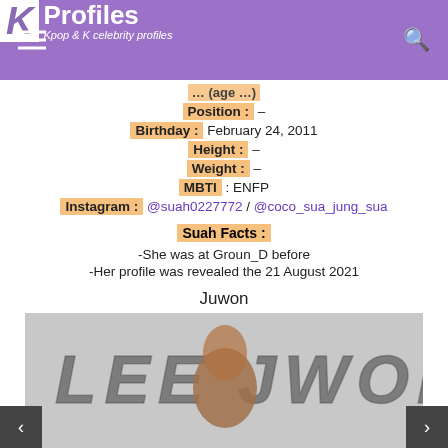K Profiles — Kpop & K celebrity profiles
Position : –
Birthday : February 24, 2011
Height : –
Weight : –
MBTI : ENFP
Instagram : @suah0227772 / @coco_sua_jung_sua
Suah Facts :
-She was at Groun_D before
-Her profile was revealed the 21 August 2021
Juwon
[Figure (photo): Photo of Juwon with LEE JUWON text in dotted letters on a grey background]
< >